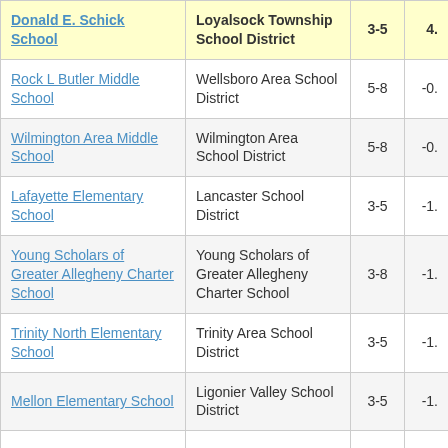| School | District | Grades | Score |
| --- | --- | --- | --- |
| Donald E. Schick School | Loyalsock Township School District | 3-5 | 4. |
| Rock L Butler Middle School | Wellsboro Area School District | 5-8 | -0. |
| Wilmington Area Middle School | Wilmington Area School District | 5-8 | -0. |
| Lafayette Elementary School | Lancaster School District | 3-5 | -1. |
| Young Scholars of Greater Allegheny Charter School | Young Scholars of Greater Allegheny Charter School | 3-8 | -1. |
| Trinity North Elementary School | Trinity Area School District | 3-5 | -1. |
| Mellon Elementary School | Ligonier Valley School District | 3-5 | -1. |
| [partial] | [partial] |  |  |